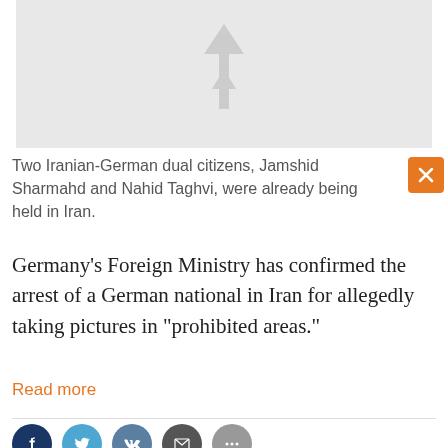[Figure (illustration): Placeholder image with a light gray background and a faint DW logo / arrow watermark in the center]
Two Iranian-German dual citizens, Jamshid Sharmahd and Nahid Taghvi, were already being held in Iran.
Germany's Foreign Ministry has confirmed the arrest of a German national in Iran for allegedly taking pictures in "prohibited areas."
Read more
[Figure (infographic): Social sharing bar with Facebook, Twitter, VK, Email, and More buttons]